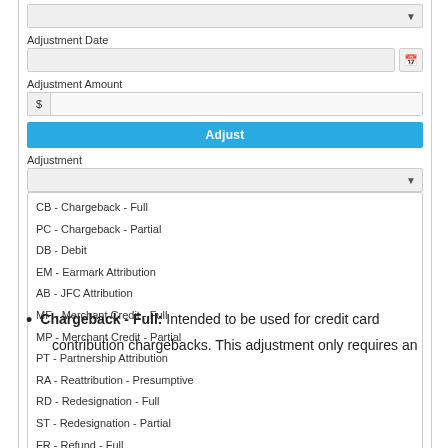[Figure (screenshot): Form UI showing Adjustment Date field with text input and calendar icon, Adjustment Amount field with dollar sign prefix, a blue Adjust button, and an Adjustment dropdown selector open showing a list of adjustment type codes and labels.]
Chargeback - Full: Intended to be used for credit card contribution chargebacks. This adjustment only requires an